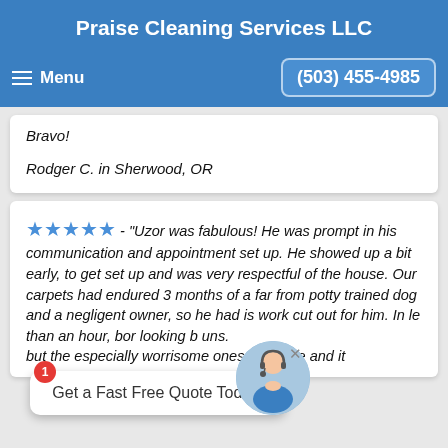Praise Cleaning Services LLC
Menu   (503) 455-4985
Bravo!

Rodger C. in Sherwood, OR
★★★★★ - "Uzor was fabulous! He was prompt in his communication and appointment set up. He showed up a bit early, to get set up and was very respectful of the house. Our carpets had endured 3 months of a far from potty trained dog and a negligent owner, so he had is work cut out for him. In le than an hour, [our] poor looking b[ack...] ans... but the especially worrisome ones are gone and it
Get a Fast Free Quote Today!